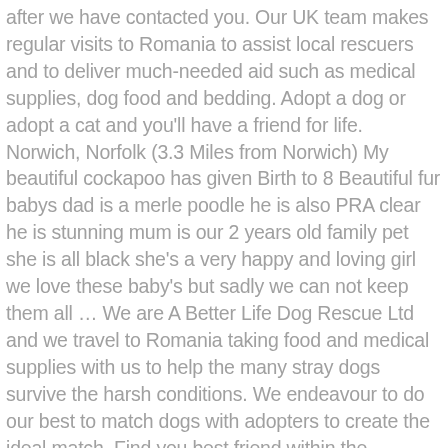after we have contacted you. Our UK team makes regular visits to Romania to assist local rescuers and to deliver much-needed aid such as medical supplies, dog food and bedding. Adopt a dog or adopt a cat and you'll have a friend for life. Norwich, Norfolk (3.3 Miles from Norwich) My beautiful cockapoo has given Birth to 8 Beautiful fur babys dad is a merle poodle he is also PRA clear he is stunning mum is our 2 years old family pet she is all black she's a very happy and loving girl we love these baby's but sadly we can not keep them all … We are A Better Life Dog Rescue Ltd and we travel to Romania taking food and medical supplies with us to help the many stray dogs survive the harsh conditions. We endeavour to do our best to match dogs with adopters to create the ideal match. Find you best friend within the thousand breeds available on Gumtree: Labradors, Cockers, Golden Retrievers, Boxers and many more. If you know the name of the dog you are looking for then type the name into the 'Dog Name' box. ANIMAL RESCUE Stubb Road Hickling